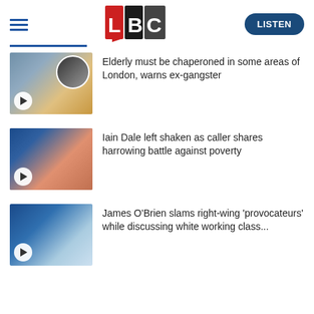LBC | LISTEN
[Figure (screenshot): Thumbnail image for news article about elderly being chaperoned, with circular portrait inset and play button]
Elderly must be chaperoned in some areas of London, warns ex-gangster
[Figure (screenshot): Thumbnail image for Iain Dale news article with play button]
Iain Dale left shaken as caller shares harrowing battle against poverty
[Figure (screenshot): Thumbnail image for James O'Brien news article with play button]
James O'Brien slams right-wing 'provocateurs' while discussing white working class...